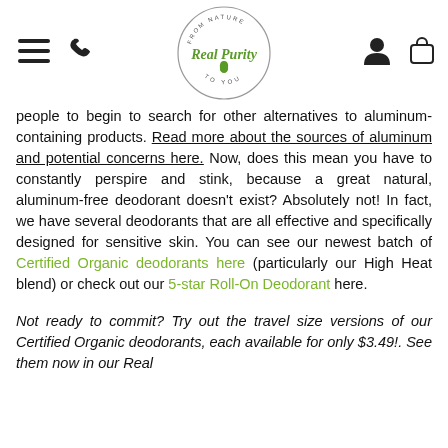Real Purity — From Nature To You
people to begin to search for other alternatives to aluminum-containing products. Read more about the sources of aluminum and potential concerns here. Now, does this mean you have to constantly perspire and stink, because a great natural, aluminum-free deodorant doesn't exist? Absolutely not! In fact, we have several deodorants that are all effective and specifically designed for sensitive skin. You can see our newest batch of Certified Organic deodorants here (particularly our High Heat blend) or check out our 5-star Roll-On Deodorant here.
Not ready to commit? Try out the travel size versions of our Certified Organic deodorants, each available for only $3.49!. See them now in our Real